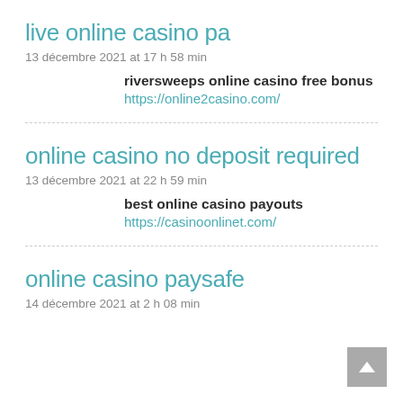live online casino pa
13 décembre 2021 at 17 h 58 min
riversweeps online casino free bonus
https://online2casino.com/
online casino no deposit required
13 décembre 2021 at 22 h 59 min
best online casino payouts
https://casinoonlinet.com/
online casino paysafe
14 décembre 2021 at 2 h 08 min